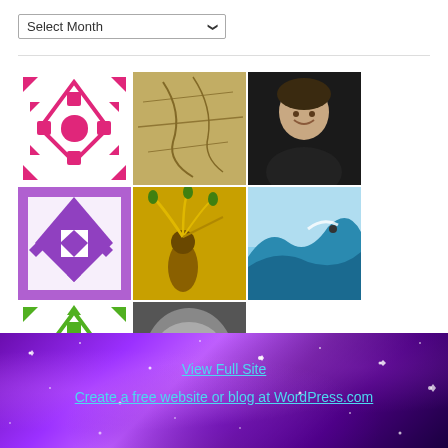[Figure (screenshot): Dropdown select element labeled 'Select Month' with a chevron arrow]
[Figure (infographic): Grid of 10 avatar/profile images - geometric patterns, a person photo, nature photos, and abstract images arranged in two rows]
Blog Stats
212,777 hits
[Figure (photo): Purple galaxy/space background footer with stars and sparkles containing links 'View Full Site' and 'Create a free website or blog at WordPress.com']
View Full Site
Create a free website or blog at WordPress.com